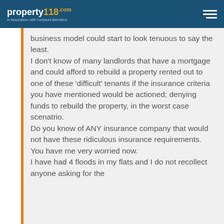property118.com – In Association with Cotswold Barristers
business model could start to look tenuous to say the least. I don't know of many landlords that have a mortgage and could afford to rebuild a property rented out to one of these 'difficult' tenants if the insurance criteria you have mentioned would be actioned; denying funds to rebuild the property, in the worst case scenatrio. Do you know of ANY insurance company that would not have these ridiculous insurance requirements. You have me very worried now. I have had 4 floods in my flats and I do not recollect anyone asking for the